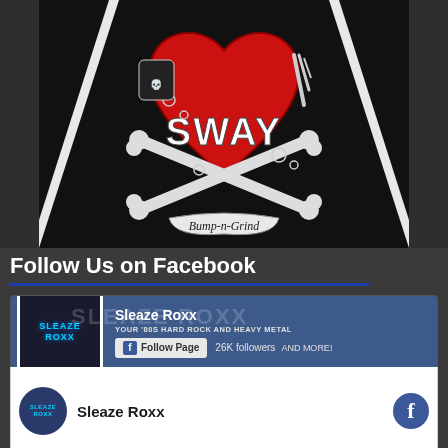[Figure (illustration): SWAY Bump-n-Grind album/band artwork: red heart with SWAY text in graffiti style, crossed bones beneath, bubbles, black and red background with diagonal white stripes]
Follow Us on Facebook
[Figure (screenshot): Facebook page widget for Sleaze Roxx showing page name, Follow Page button, 26K followers, tagline 'Your 80s Hard Rock and Heavy Metal and More!']
[Figure (screenshot): Bottom portion of Facebook widget showing Sleaze Roxx page name with avatar and Facebook circle icon]